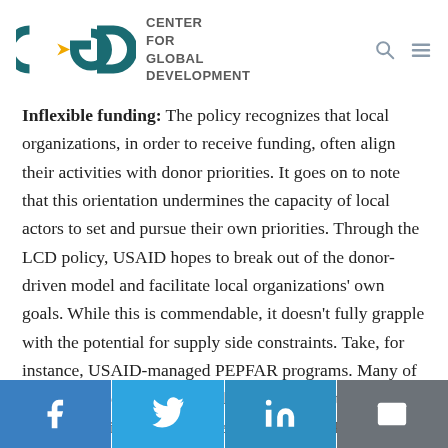CGD – Center for Global Development
Inflexible funding: The policy recognizes that local organizations, in order to receive funding, often align their activities with donor priorities. It goes on to note that this orientation undermines the capacity of local actors to set and pursue their own priorities. Through the LCD policy, USAID hopes to break out of the donor-driven model and facilitate local organizations' own goals. While this is commendable, it doesn't fully grapple with the potential for supply side constraints. Take, for instance, USAID-managed PEPFAR programs. Many of these activities center around capacity strengthening for HIV prevention, care, and treatment. But PEPFAR also comes with reporting requirements, ensuring that capacities are oriented toward standard
Social share buttons: Facebook, Twitter, LinkedIn, Email